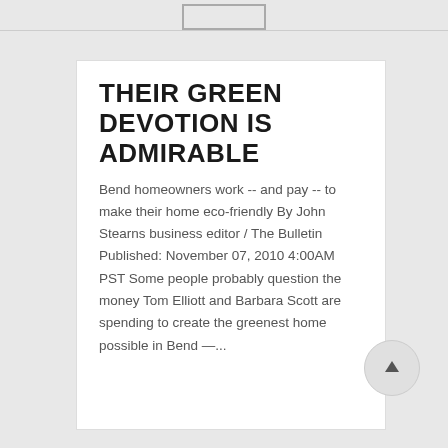THEIR GREEN DEVOTION IS ADMIRABLE
Bend homeowners work -- and pay -- to make their home eco-friendly By John Stearns business editor / The Bulletin Published: November 07, 2010 4:00AM PST Some people probably question the money Tom Elliott and Barbara Scott are spending to create the greenest home possible in Bend —...